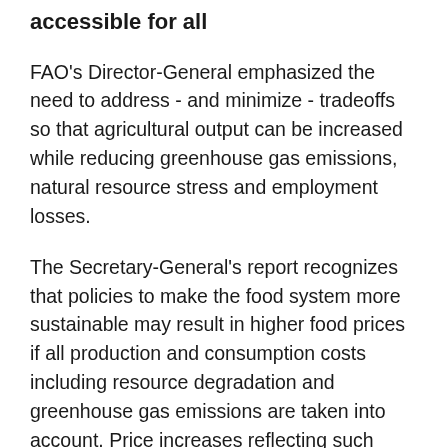accessible for all
FAO's Director-General emphasized the need to address - and minimize - tradeoffs so that agricultural output can be increased while reducing greenhouse gas emissions, natural resource stress and employment losses.
The Secretary-General's report recognizes that policies to make the food system more sustainable may result in higher food prices if all production and consumption costs including resource degradation and greenhouse gas emissions are taken into account. Price increases reflecting such